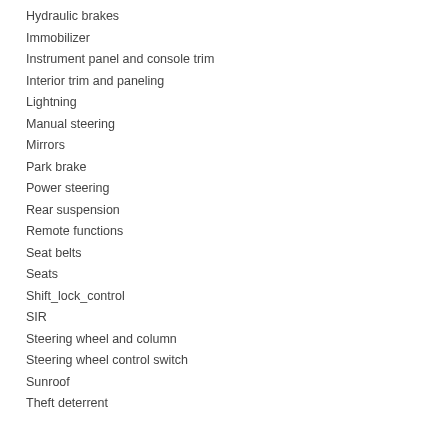Hydraulic brakes
Immobilizer
Instrument panel and console trim
Interior trim and paneling
Lightning
Manual steering
Mirrors
Park brake
Power steering
Rear suspension
Remote functions
Seat belts
Seats
Shift_lock_control
SIR
Steering wheel and column
Steering wheel control switch
Sunroof
Theft deterrent